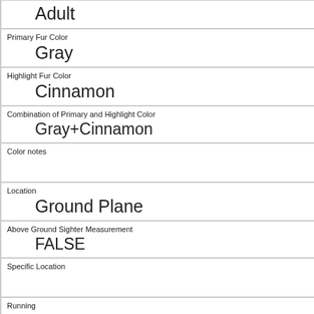| Adult |
| Primary Fur Color | Gray |
| Highlight Fur Color | Cinnamon |
| Combination of Primary and Highlight Color | Gray+Cinnamon |
| Color notes |  |
| Location | Ground Plane |
| Above Ground Sighter Measurement | FALSE |
| Specific Location |  |
| Running | 1 |
| Chasing | 0 |
| Climbing |  |